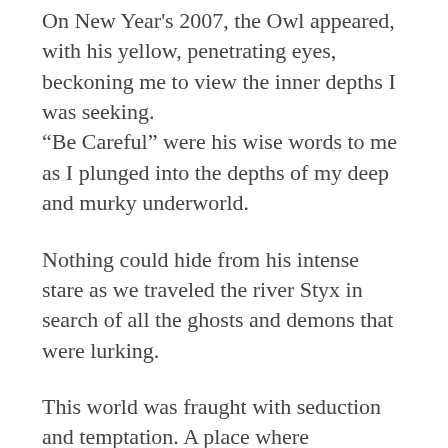On New Year's 2007, the Owl appeared, with his yellow, penetrating eyes, beckoning me to view the inner depths I was seeking. “Be Careful” were his wise words to me as I plunged into the depths of my deep and murky underworld.
Nothing could hide from his intense stare as we traveled the river Styx in search of all the ghosts and demons that were lurking.
This world was fraught with seduction and temptation. A place where phantasmorphic figures rose as distorted illusions that